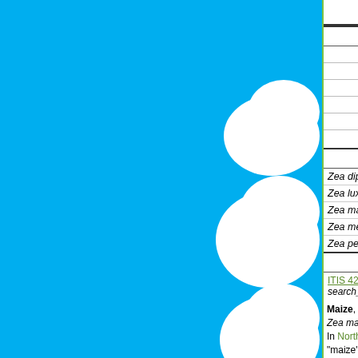| Scientific classification |
| --- |
| Kingdom: | Plantae |
| Division: | Magnoliophyta |
| Class: | Liliopsida |
| Order: | Poales |
| Family: | Poaceae |
| Genus: | Zea |
| Species: |  |
| Zea diploperennis |  |
| Zea luxurians |  |
| Zea mays |  |
| Zea mexicana |  |
| Zea perennis |  |
| References |  |
| ITIS 42268 (http://www.itis.usda.gov/servlet/SingleRpt/SingleRpt?search_topic=TSN&search_value=42268) 2002-0 |  |
Maize, or corn, is a staple food[?] grain from North America, specifically the species Zea mays. Teosinite is any other species, especially in the genus Zea. In North America, Zea mays is known as "corn", while outside North America it is known as "maize"; alternatively, the term "corn" may be restricted to mean